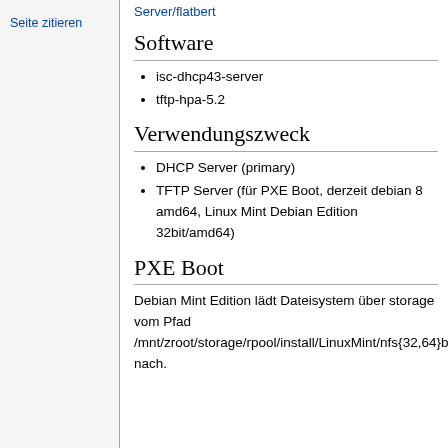Server/flatbert
Software
isc-dhcp43-server
tftp-hpa-5.2
Verwendungszweck
DHCP Server (primary)
TFTP Server (für PXE Boot, derzeit debian 8 amd64, Linux Mint Debian Edition 32bit/amd64)
PXE Boot
Debian Mint Edition lädt Dateisystem über storage vom Pfad /mnt/zroot/storage/rpool/install/LinuxMint/nfs{32,64}bit nach.
Seite zitieren